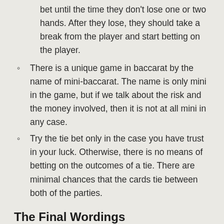bet until the time they don't lose one or two hands. After they lose, they should take a break from the player and start betting on the player.
There is a unique game in baccarat by the name of mini-baccarat. The name is only mini in the game, but if we talk about the risk and the money involved, then it is not at all mini in any case.
Try the tie bet only in the case you have trust in your luck. Otherwise, there is no means of betting on the outcomes of a tie. There are minimal chances that the cards tie between both of the parties.
The Final Wordings
Baccarat has gained some considerable popularity in